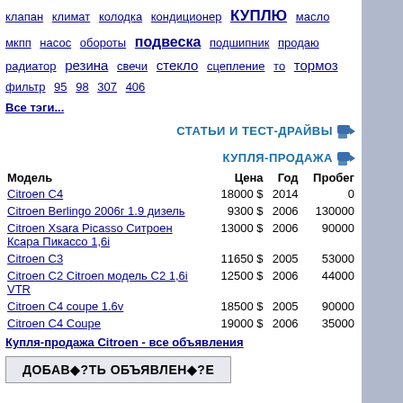клапан климат колодка кондиционер КУПЛЮ масло мкпп насос обороты подвеска подшипник продаю радиатор резина свечи стекло сцепление то тормоз фильтр 95 98 307 406
Все тэги...
СТАТЬИ И ТЕСТ-ДРАЙВЫ
КУПЛЯ-ПРОДАЖА
| Модель | Цена | Год | Пробег |
| --- | --- | --- | --- |
| Citroen C4 | 18000 $ | 2014 | 0 |
| Citroen Berlingo 2006г 1.9 дизель | 9300 $ | 2006 | 130000 |
| Citroen Xsara Picasso Ситроен Ксара Пикассо 1,6i | 13000 $ | 2006 | 90000 |
| Citroen C3 | 11650 $ | 2005 | 53000 |
| Citroen C2 Citroen модель C2 1,6i VTR | 12500 $ | 2006 | 44000 |
| Citroen C4 coupe 1.6v | 18500 $ | 2005 | 90000 |
| Citroen C4 Coupe | 19000 $ | 2006 | 35000 |
Купля-продажа Citroen - все объявления
ДОБАВ◆?ТЬ ОБЪЯВЛЕН◆?Е